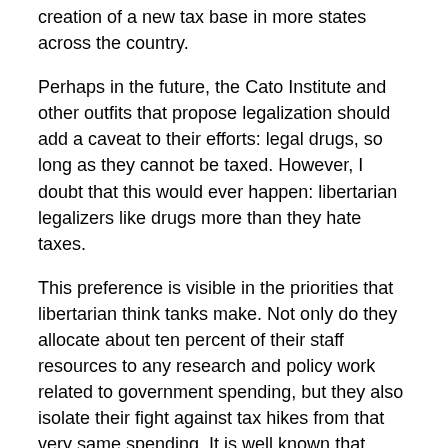creation of a new tax base in more states across the country.
Perhaps in the future, the Cato Institute and other outfits that propose legalization should add a caveat to their efforts: legal drugs, so long as they cannot be taxed. However, I doubt that this would ever happen: libertarian legalizers like drugs more than they hate taxes.
This preference is visible in the priorities that libertarian think tanks make. Not only do they allocate about ten percent of their staff resources to any research and policy work related to government spending, but they also isolate their fight against tax hikes from that very same spending. It is well known that opposition to higher taxes without proposition of spending reform eventually folds to higher taxes and higher spending.